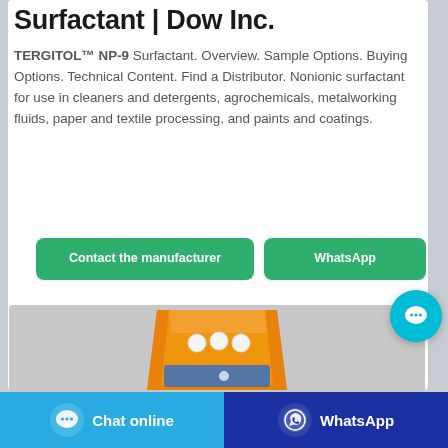Surfactant | Dow Inc.
TERGITOL™ NP-9 Surfactant. Overview. Sample Options. Buying Options. Technical Content. Find a Distributor. Nonionic surfactant for use in cleaners and detergents, agrochemicals, metalworking fluids, paper and textile processing, and paints and coatings.
[Figure (screenshot): Two green buttons: 'Contact the manufacturer' and 'WhatsApp']
[Figure (photo): Orange/amber colored flexible bag product packaging on grey background]
[Figure (infographic): Cyan circular chat bubble button with ellipsis icon]
[Figure (infographic): Bottom bar with light blue 'Chat online' button and dark blue 'WhatsApp' button with icons]